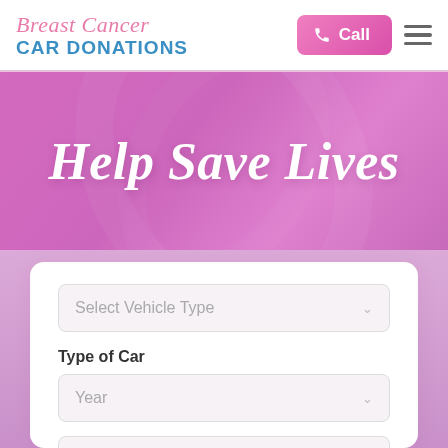[Figure (logo): Breast Cancer Car Donations logo with pink script text and blue bold text]
Call
[Figure (screenshot): Hero banner with pink/purple gradient background and large italic white text reading 'Help Save Lives']
Help Save Lives
Select Vehicle Type
Type of Car
Year